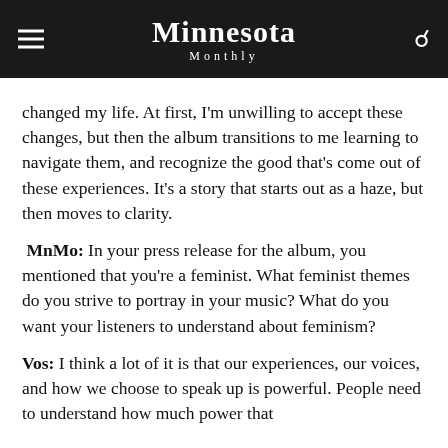Minnesota Monthly
changed my life. At first, I'm unwilling to accept these changes, but then the album transitions to me learning to navigate them, and recognize the good that's come out of these experiences. It's a story that starts out as a haze, but then moves to clarity.
MnMo: In your press release for the album, you mentioned that you're a feminist. What feminist themes do you strive to portray in your music? What do you want your listeners to understand about feminism?
Vos: I think a lot of it is that our experiences, our voices, and how we choose to speak up is powerful. People need to understand how much power that